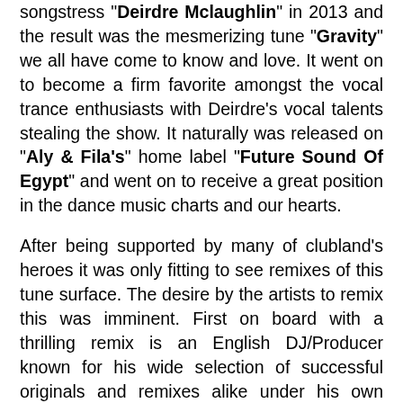songstress "Deirdre Mclaughlin" in 2013 and the result was the mesmerizing tune "Gravity" we all have come to know and love. It went on to become a firm favorite amongst the vocal trance enthusiasts with Deirdre's vocal talents stealing the show. It naturally was released on "Aly & Fila's" home label "Future Sound Of Egypt" and went on to receive a great position in the dance music charts and our hearts.
After being supported by many of clubland's heroes it was only fitting to see remixes of this tune surface. The desire by the artists to remix this was imminent. First on board with a thrilling remix is an English DJ/Producer known for his wide selection of successful originals and remixes alike under his own name "Dan Dobson" or his usual alter ego "Daxson".
Dan gets straight to work by implementing his artistic influences within. Acid synths, choir-like segments and buzzing basslines are here from the start to shake things up. Deirdre's haunting vocals emerge into the open like a bright beacon on a starless night, making the track soar to new heights. Lush piano keys are here paired up amongst angelic, serene strings giving us moments of temporary reflection before the distinct leads rush in piercing our veins